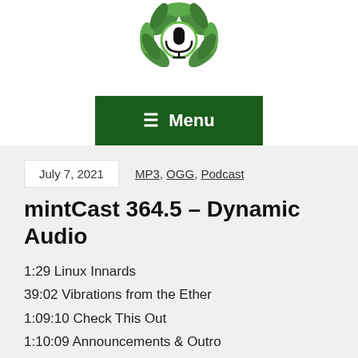[Figure (logo): Mint cast podcast logo: green mint leaves with a microphone icon in a circle at the center]
[Figure (other): Dark green menu button with hamburger icon and 'Menu' text]
July 7, 2021    MP3, OGG, Podcast
mintCast 364.5 – Dynamic Audio
1:29 Linux Innards
39:02 Vibrations from the Ether
1:09:10 Check This Out
1:10:09 Announcements & Outro